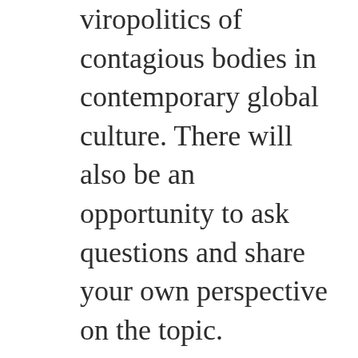viropolitics of contagious bodies in contemporary global culture. There will also be an opportunity to ask questions and share your own perspective on the topic.
You can register for this free online event through Eventbrite: https://www.eventbrite.co.uk/contagion-roundtable-and-book-launch-tickets-158699064173
Read more